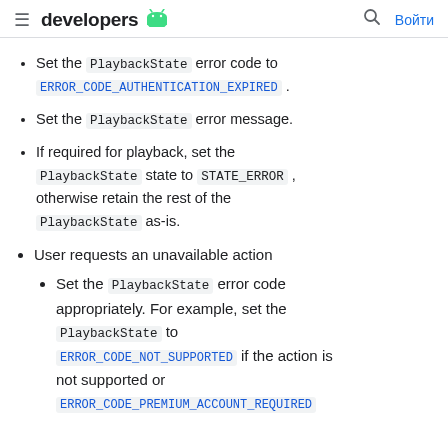developers [android logo] [search] Войти
Set the PlaybackState error code to ERROR_CODE_AUTHENTICATION_EXPIRED.
Set the PlaybackState error message.
If required for playback, set the PlaybackState state to STATE_ERROR, otherwise retain the rest of the PlaybackState as-is.
User requests an unavailable action
Set the PlaybackState error code appropriately. For example, set the PlaybackState to ERROR_CODE_NOT_SUPPORTED if the action is not supported or ERROR_CODE_PREMIUM_ACCOUNT_REQUIRED